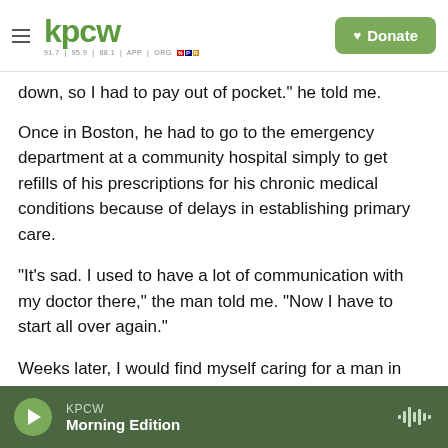KPCW | Donate
down, so I had to pay out of pocket." he told me.
Once in Boston, he had to go to the emergency department at a community hospital simply to get refills of his prescriptions for his chronic medical conditions because of delays in establishing primary care.
"It's sad. I used to have a lot of communication with my doctor there," the man told me. "Now I have to start all over again."
Weeks later, I would find myself caring for a man in
KPCW Morning Edition